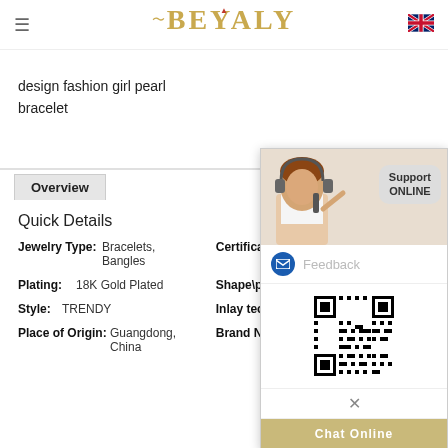BEYALY
design fashion girl pearl bracelet
Overview
Quick Details
| Field | Value | Field2 | Value2 |
| --- | --- | --- | --- |
| Jewelry Type: | Bracelets, Bangles | Certificate Ty |  |
| Plating: | 18K Gold Plated | Shape\pattern |  |
| Style: | TRENDY | Inlay technol |  |
| Place of Origin: | Guangdong, China | Brand Name |  |
[Figure (screenshot): Support ONLINE chat overlay panel with a customer support representative photo, Feedback button, QR code, close button, and Chat Online button]